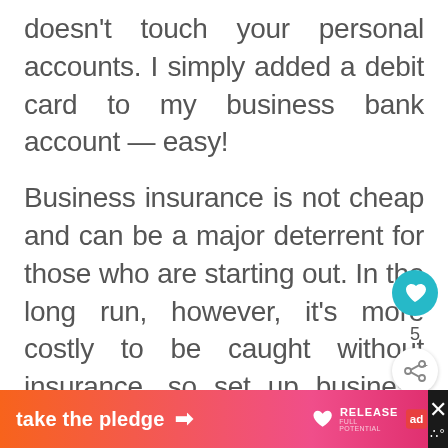doesn't touch your personal accounts. I simply added a debit card to my business bank account — easy!
Business insurance is not cheap and can be a major deterrent for those who are starting out. In the long run, however, it's more costly to be caught without insurance, so set up business insurance right away.
[Figure (other): Teal circular heart/like button and share button with count of 5]
[Figure (infographic): Bottom banner advertisement: orange-to-pink gradient with 'take the pledge' text and arrow, Release logo with heart icon, ad badge, and close X button on black background]